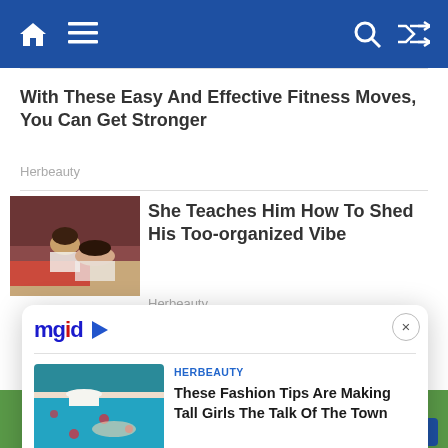Navigation bar with home, menu, search, shuffle icons
With These Easy And Effective Fitness Moves, You Can Get Stronger
Herbeauty
[Figure (photo): Couple lying on a bed in a romantic scene]
She Teaches Him How To Shed His Too-organized Vibe
Herbeauty
[Figure (screenshot): MGID popup widget with logo and article card showing pool/spa scene]
HERBEAUTY
These Fashion Tips Are Making Tall Girls The Talk Of The Town